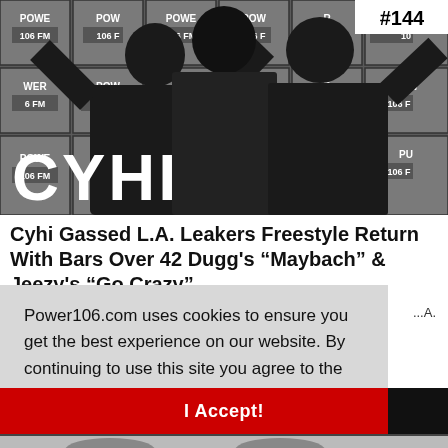[Figure (photo): Three men posing in front of Power 106 FM step-and-repeat banner backdrop. Text 'CYHI' overlaid in large white letters at bottom left. Episode badge '#144' at top right.]
Cyhi Gassed L.A. Leakers Freestyle Return With Bars Over 42 Dugg's “Maybach” & Jeezy's “Go Crazy”
Power106.com uses cookies to ensure you get the best experience on our website. By continuing to use this site you agree to the terms of our privacy policy.  Learn more
I Accept!
[Figure (photo): Partial view of another photo at the very bottom of the page.]